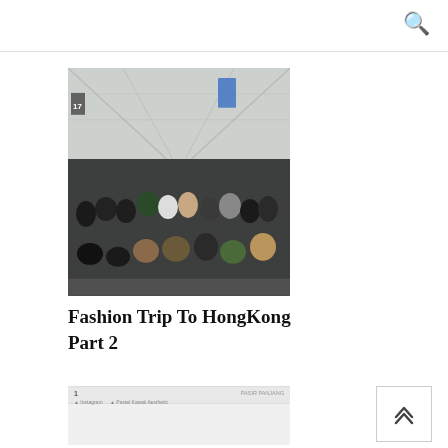[Figure (photo): Group photo of approximately 20 people posing at an airport terminal (Hong Kong International Airport) with high geometric ceiling structure visible in background. People are arranged in two rows, front row seated on floor, back row standing. Some people are raising their hands.]
Fashion Trip To HongKong Part 2
[Figure (screenshot): Partial screenshot of a webpage or social media post preview, showing a numbered item, date text, and tag/category labels below.]